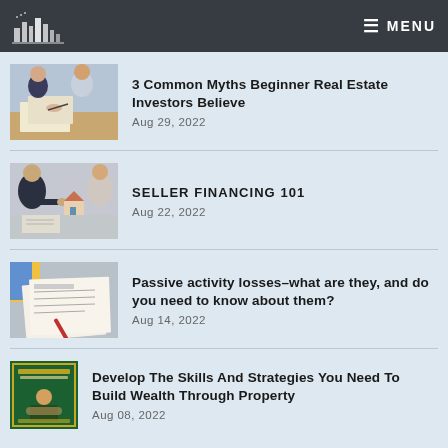THE SMART RE INVESTOR — MENU
3 Common Myths Beginner Real Estate Investors Believe
Aug 29, 2022
SELLER FINANCING 101
Aug 22, 2022
Passive activity losses–what are they, and do you need to know about them?
Aug 14, 2022
Develop The Skills And Strategies You Need To Build Wealth Through Property
Aug 08, 2022